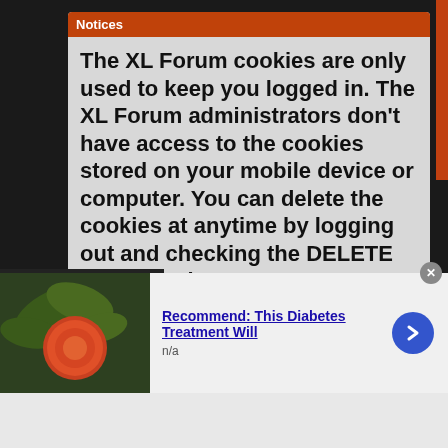Notices
The XL Forum cookies are only used to keep you logged in. The XL Forum administrators don't have access to the cookies stored on your mobile device or computer. You can delete the cookies at anytime by logging out and checking the DELETE COOKIES box.
The XL Forum doesn't share, or sell, your information with any person or company.
Third parties advertisers on The XL Forum have their own cookie policies.
infolinks
Recommend: This Diabetes Treatment Will
n/a